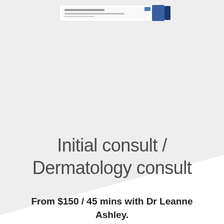[Figure (photo): Partial product image (medical/dermatology product packaging) visible at top of page, cropped, on a light gray background with diagonal white cut below]
Initial consult / Dermatology consult
From $150 / 45 mins with Dr Leanne Ashley.